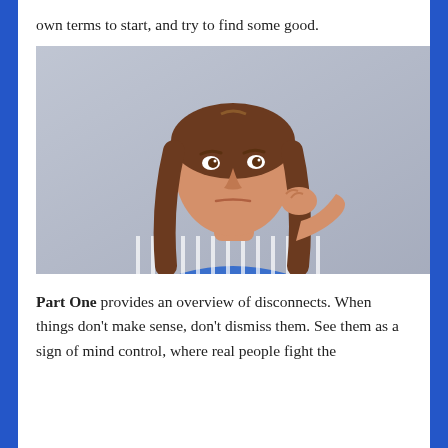own terms to start, and try to find some good.
[Figure (photo): A young woman with long brown hair wearing a blue and white striped shirt, hand raised to chin in a thoughtful/skeptical expression, against a light gray background.]
Part One provides an overview of disconnects.  When things don't make sense, don't dismiss them.  See them as a sign of mind control, where real people fight the